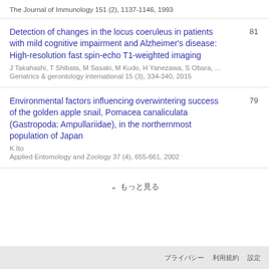The Journal of Immunology 151 (2), 1137-1146, 1993
Detection of changes in the locus coeruleus in patients with mild cognitive impairment and Alzheimer's disease: High-resolution fast spin-echo T1-weighted imaging
J Takahashi, T Shibata, M Sasaki, M Kudo, H Yanezawa, S Obara, ...
Geriatrics & gerontology international 15 (3), 334-340, 2015
81
Environmental factors influencing overwintering success of the golden apple snail, Pomacea canaliculata (Gastropoda: Ampullariidae), in the northernmost population of Japan
K Ito
Applied Entomology and Zoology 37 (4), 655-661, 2002
79
もっと見る
プライバシー  利用規約  設定